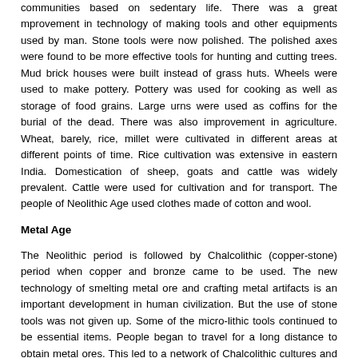communities based on sedentary life. There was a great mprovement in technology of making tools and other equipments used by man. Stone tools were now polished. The polished axes were found to be more effective tools for hunting and cutting trees. Mud brick houses were built instead of grass huts. Wheels were used to make pottery. Pottery was used for cooking as well as storage of food grains. Large urns were used as coffins for the burial of the dead. There was also improvement in agriculture. Wheat, barely, rice, millet were cultivated in different areas at different points of time. Rice cultivation was extensive in eastern India. Domestication of sheep, goats and cattle was widely prevalent. Cattle were used for cultivation and for transport. The people of Neolithic Age used clothes made of cotton and wool.
Metal Age
The Neolithic period is followed by Chalcolithic (copper-stone) period when copper and bronze came to be used. The new technology of smelting metal ore and crafting metal artifacts is an important development in human civilization. But the use of stone tools was not given up. Some of the micro-lithic tools continued to be essential items. People began to travel for a long distance to obtain metal ores. This led to a network of Chalcolithic cultures and the